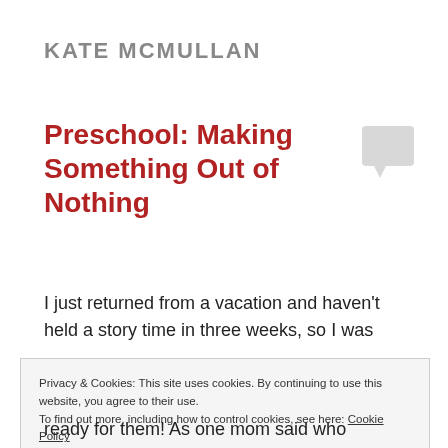KATE MCMULLAN
Preschool: Making Something Out of Nothing
I just returned from a vacation and haven't held a story time in three weeks, so I was
Privacy & Cookies: This site uses cookies. By continuing to use this website, you agree to their use.
To find out more, including how to control cookies, see here: Cookie Policy
Close and accept
ready for them! As one mom said who